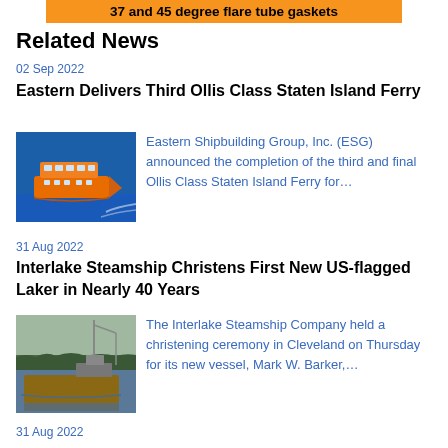37 and 45 degree flare tube gaskets
Related News
02 Sep 2022
Eastern Delivers Third Ollis Class Staten Island Ferry
[Figure (photo): Aerial view of orange Staten Island Ferry vessel underway on blue water]
Eastern Shipbuilding Group, Inc. (ESG) announced the completion of the third and final Ollis Class Staten Island Ferry for…
31 Aug 2022
Interlake Steamship Christens First New US-flagged Laker in Nearly 40 Years
[Figure (photo): Aerial view of a large cargo ship at dock near a forested waterway]
The Interlake Steamship Company held a christening ceremony in Cleveland on Thursday for its new vessel, Mark W. Barker,…
31 Aug 2022